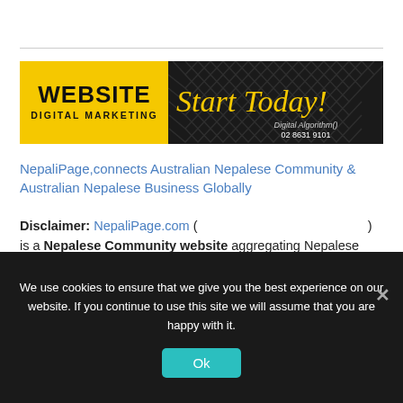[Figure (illustration): Advertisement banner: left side yellow background with bold black text 'WEBSITE / DIGITAL MARKETING', right side black background with yellow italic script text 'Start Today!', white text 'Digital Algorithm()' and '02 8631 9101']
NepaliPage,connects Australian Nepalese Community & Australian Nepalese Business Globally
Disclaimer: NepaliPage.com ( ) is a Nepalese Community website aggregating Nepalese Australian affairs including Australian Nepali Community News, Migration opportunities in Australia, Nepali International Students, Nepali home and garden, Nepali mortgage and real estate tips, tricks, and
We use cookies to ensure that we give you the best experience on our website. If you continue to use this site we will assume that you are happy with it.